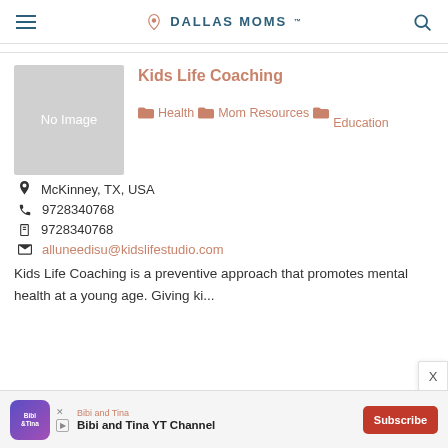DALLAS MOMS
Kids Life Coaching
Health  Mom Resources  Education
McKinney, TX, USA
9728340768
9728340768
alluneedisu@kidslifestudio.com
Kids Life Coaching is a preventive approach that promotes mental health at a young age. Giving ki...
[Figure (other): No Image placeholder box]
[Figure (other): Advertisement banner: Bibi and Tina YT Channel with Subscribe button]